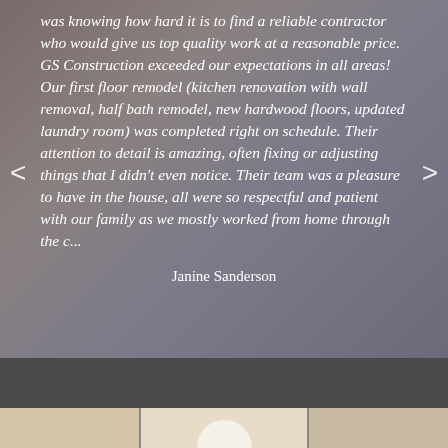was knowing how hard it is to find a reliable contractor who would give us top quality work at a reasonable price. GS Construction exceeded our expectations in all areas! Our first floor remodel (kitchen renovation with wall removal, half bath remodel, new hardwood floors, updated laundry room) was completed right on schedule. Their attention to detail is amazing, often fixing or adjusting things that I didn't even notice. Their team was a pleasure to have in the house, all were so respectful and patient with our family as we mostly worked from home through the c...
Janine Sanderson
[Figure (photo): Bottom section with dark gray bar and partial view of interior photos below]